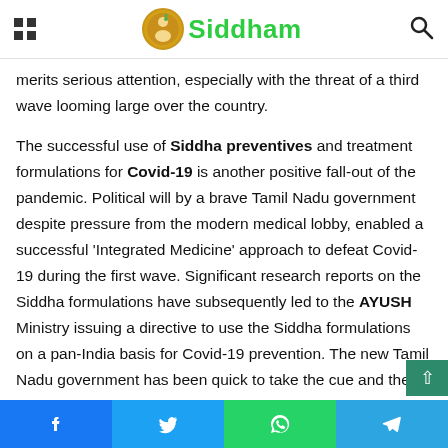Siddham
merits serious attention, especially with the threat of a third wave looming large over the country.
The successful use of Siddha preventives and treatment formulations for Covid-19 is another positive fall-out of the pandemic. Political will by a brave Tamil Nadu government despite pressure from the modern medical lobby, enabled a successful ‘Integrated Medicine’ approach to defeat Covid-19 during the first wave. Significant research reports on the Siddha formulations have subsequently led to the AYUSH Ministry issuing a directive to use the Siddha formulations on a pan-India basis for Covid-19 prevention. The new Tamil Nadu government has been quick to take the cue and the state is